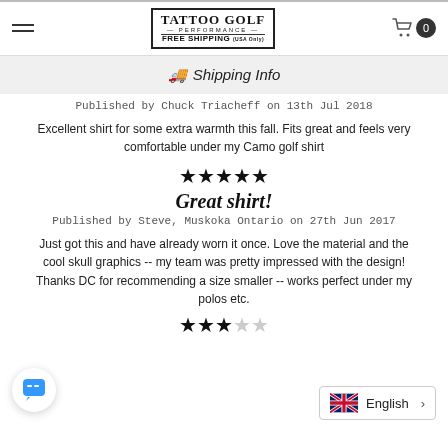Tattoo Golf Performance Free Shipping (USA Only) — navigation header with cart
🚚 Shipping Info
Published by Chuck Triacheff on 13th Jul 2018
Excellent shirt for some extra warmth this fall. Fits great and feels very comfortable under my Camo golf shirt
[Figure (other): Five filled star rating icons]
Great shirt!
Published by Steve, Muskoka Ontario on 27th Jun 2017
Just got this and have already worn it once. Love the material and the cool skull graphics -- my team was pretty impressed with the design! Thanks DC for recommending a size smaller -- works perfect under my polos etc.
[Figure (other): Partial star rating (approximately 3 stars) at bottom of page]
[Figure (other): Chat button widget (blue speech bubble icon)]
[Figure (other): Language selector widget showing UK flag and English label with arrow]